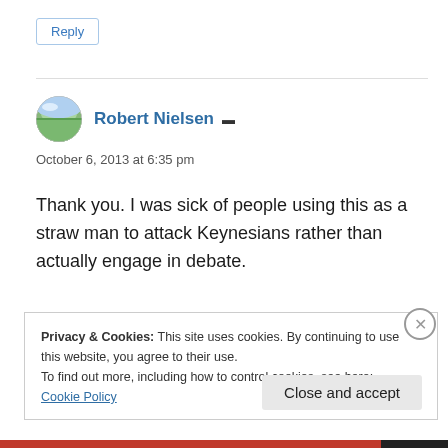Reply
Robert Nielsen ▲
October 6, 2013 at 6:35 pm
Thank you. I was sick of people using this as a straw man to attack Keynesians rather than actually engage in debate.
Privacy & Cookies: This site uses cookies. By continuing to use this website, you agree to their use.
To find out more, including how to control cookies, see here:
Cookie Policy
Close and accept